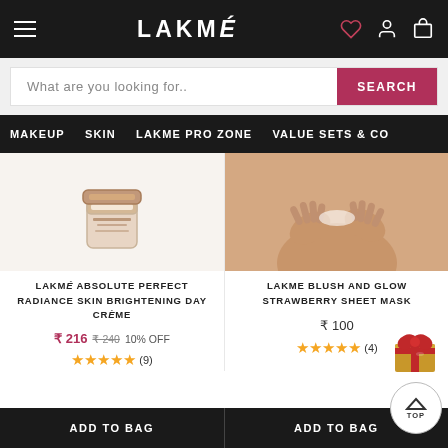LAKMÉ
What are you looking for..  SEARCH
MAKEUP
SKIN
LAKME PRO ZONE
VALUE SETS & CO
[Figure (photo): Product image placeholder for LAKMÉ Absolute Perfect Radiance Skin Brightening Day Crème]
LAKMÉ ABSOLUTE PERFECT RADIANCE SKIN BRIGHTENING DAY CRÈME
₹ 216  ₹ 240  10% OFF
★★★★★ (9)
[Figure (photo): Photo of hands/neck area, product image for LAKME Blush and Glow Strawberry Sheet Mask]
LAKME BLUSH AND GLOW STRAWBERRY SHEET MASK
₹ 100
★★★★★ (4)
ADD TO BAG
ADD TO BAG